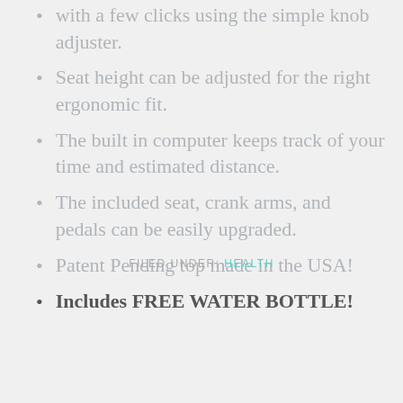with a few clicks using the simple knob adjuster.
Seat height can be adjusted for the right ergonomic fit.
The built in computer keeps track of your time and estimated distance.
The included seat, crank arms, and pedals can be easily upgraded.
Patent Pending top made in the USA!
Includes FREE WATER BOTTLE!
FILED UNDER: HEALTH